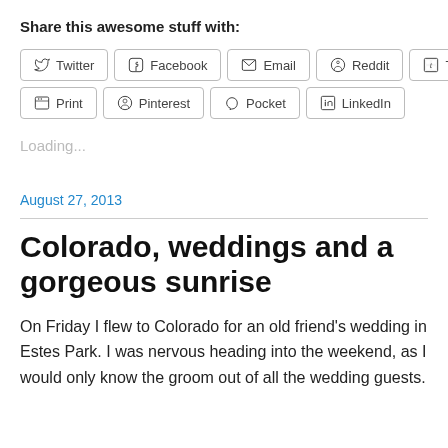Share this awesome stuff with:
Twitter | Facebook | Email | Reddit | Tumblr | Print | Pinterest | Pocket | LinkedIn
Loading...
August 27, 2013
Colorado, weddings and a gorgeous sunrise
On Friday I flew to Colorado for an old friend's wedding in Estes Park. I was nervous heading into the weekend, as I would only know the groom out of all the wedding guests.